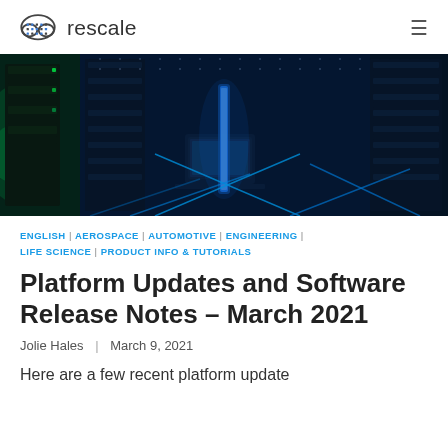rescale
[Figure (photo): Dark data center with server racks illuminated by blue and green neon lights, with glowing blue geometric lines overlaid on the floor]
ENGLISH | AEROSPACE | AUTOMOTIVE | ENGINEERING | LIFE SCIENCE | PRODUCT INFO & TUTORIALS
Platform Updates and Software Release Notes – March 2021
Jolie Hales  |  March 9, 2021
Here are a few recent platform update